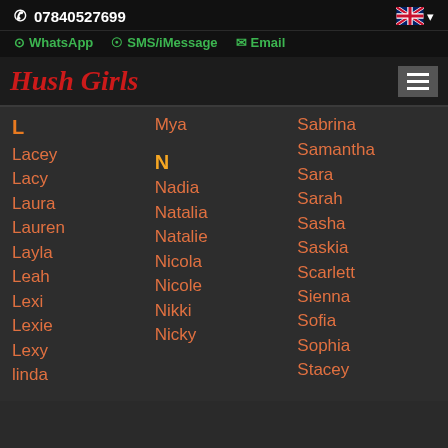07840527699
WhatsApp  SMS/iMessage  Email
Hush Girls
L
Lacey
Lacy
Laura
Lauren
Layla
Leah
Lexi
Lexie
Lexy
linda
Mya
N
Nadia
Natalia
Natalie
Nicola
Nicole
Nikki
Nicky
Sabrina
Samantha
Sara
Sarah
Sasha
Saskia
Scarlett
Sienna
Sofia
Sophia
Stacey